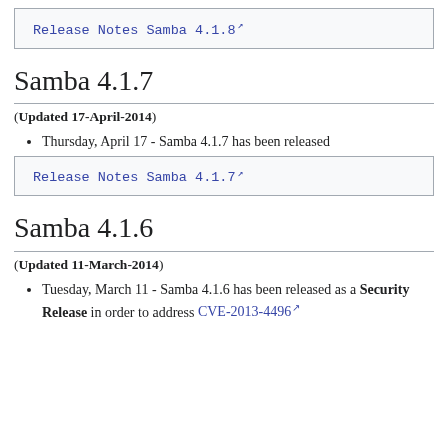Release Notes Samba 4.1.8 [link]
Samba 4.1.7
(Updated 17-April-2014)
Thursday, April 17 - Samba 4.1.7 has been released
Release Notes Samba 4.1.7 [link]
Samba 4.1.6
(Updated 11-March-2014)
Tuesday, March 11 - Samba 4.1.6 has been released as a Security Release in order to address CVE-2013-4496 [link]